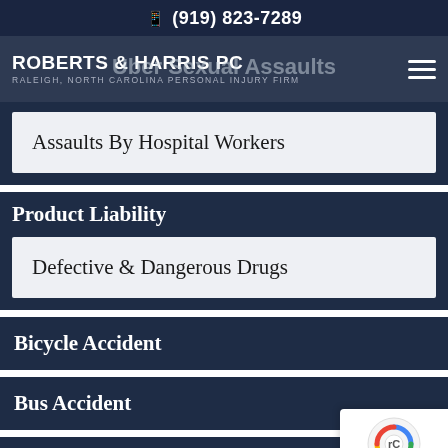(919) 823-7289
ROBERTS & HARRIS PC — RALEIGH, NORTH CAROLINA PERSONAL INJURY FIRM
Uber Sexual Assaults
Assaults By Hospital Workers
Product Liability
Defective & Dangerous Drugs
Bicycle Accident
Bus Accident
Negligent Security